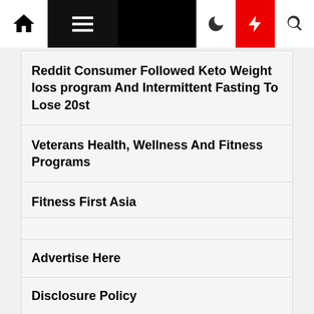Navigation bar with home, menu, moon, bolt, and search icons
Reddit Consumer Followed Keto Weight loss program And Intermittent Fasting To Lose 20st
Veterans Health, Wellness And Fitness Programs
Fitness First Asia
Advertise Here
Disclosure Policy
contact us
Sitemap